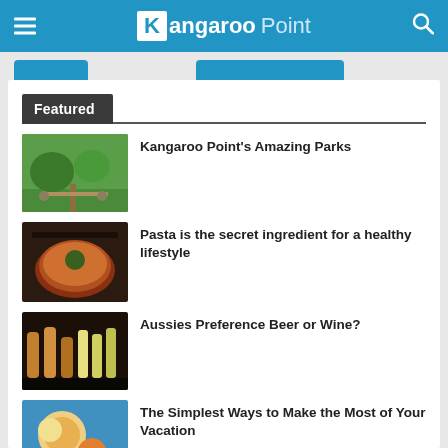Kangaroo Point
Featured
Kangaroo Point's Amazing Parks
Pasta is the secret ingredient for a healthy lifestyle
Aussies Preference Beer or Wine?
The Simplest Ways to Make the Most of Your Vacation
The Secret to Grandma's Mouth-Watering Famous Blueberry Pie